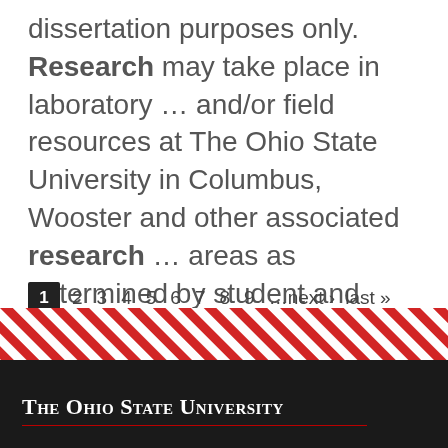dissertation purposes only. Research may take place in laboratory … and/or field resources at The Ohio State University in Columbus, Wooster and other associated research … areas as determined by student and instructor. Research may include experimental studies, revisional …
Pagination: 1 (current) 2 3 4 5 6 7 8 9 …next › last »
[Figure (illustration): Diagonal red and white striped decorative bar — Ohio State University branding stripe]
The Ohio State University